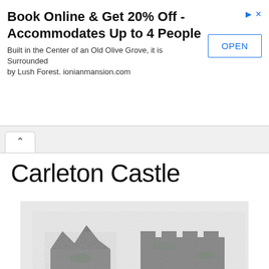Book Online & Get 20% Off - Accommodates Up to 4 People
Built in the Center of an Old Olive Grove, it is Surrounded by Lush Forest. ionianmansion.com
Carleton Castle
[Figure (photo): Black and white photograph of Carleton Castle ruins, showing stone walls and a round tower with openings/windows, partially deteriorated.]